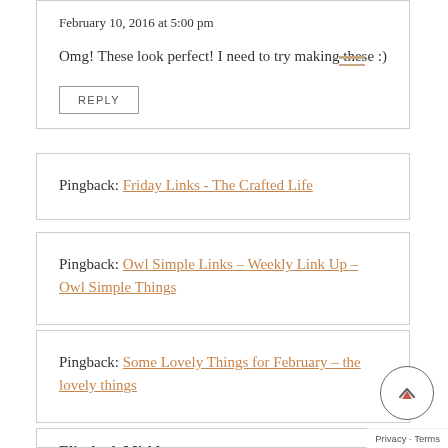February 10, 2016 at 5:00 pm
Omg! These look perfect! I need to try making these :)
REPLY
Pingback: Friday Links - The Crafted Life
Pingback: Owl Simple Links – Weekly Link Up – Owl Simple Things
Pingback: Some Lovely Things for February – the lovely things
Elizabeth Mishler